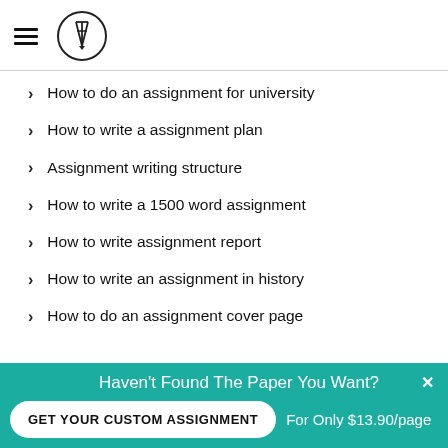[Figure (logo): Hamburger menu icon and pencil/pen logo in a circle]
How to do an assignment for university
How to write a assignment plan
Assignment writing structure
How to write a 1500 word assignment
How to write assignment report
How to write an assignment in history
How to do an assignment cover page
Haven't Found The Paper You Want?
GET YOUR CUSTOM ASSIGNMENT
For Only $13.90/page